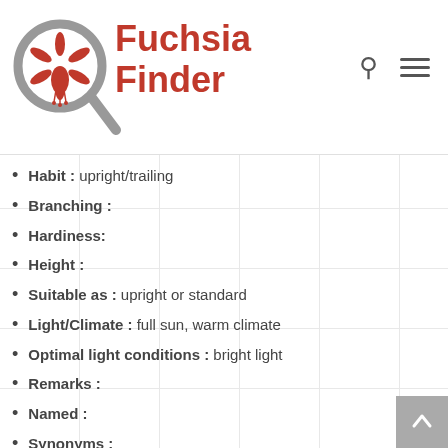Fuchsia Finder
Habit : upright/trailing
Branching :
Hardiness:
Height :
Suitable as : upright or standard
Light/Climate : full sun, warm climate
Optimal light conditions : bright light
Remarks :
Named :
Synonyms :
Lookalikes :
Year (of registration) : 2009
Year of introduction :